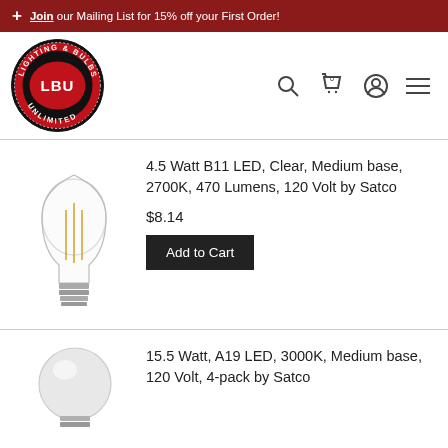Join our Mailing List for 15% off your First Order!
[Figure (logo): Lighting & Bulbs Unlimited (LBU) circular logo with red background and black/white text]
4.5 Watt B11 LED, Clear, Medium base, 2700K, 470 Lumens, 120 Volt by Satco
$8.14
Add to Cart
[Figure (photo): Clear filament LED B11 candelabra bulb with medium screw base]
15.5 Watt, A19 LED, 3000K, Medium base, 120 Volt, 4-pack by Satco
[Figure (photo): Frosted white A19 LED light bulb]